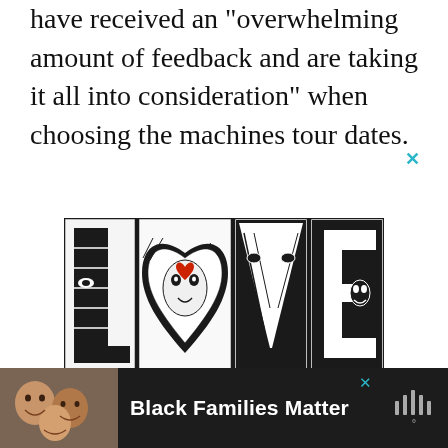have received an “overwhelming amount of feedback and are taking it all into consideration” when choosing the machines tour dates.
[Figure (illustration): Decorative LOVE word art in black and white with intricate face illustrations forming each letter, with a red heart detail on the O]
1
[Figure (illustration): Bottom advertisement bar showing Black Families Matter with a photo of smiling family]